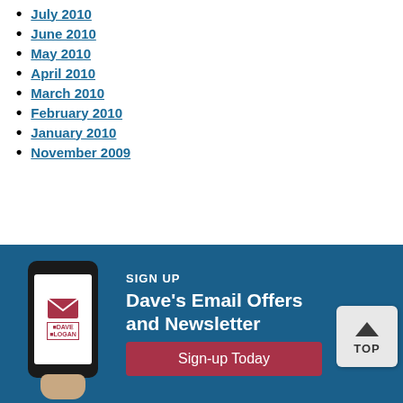July 2010
June 2010
May 2010
April 2010
March 2010
February 2010
January 2010
November 2009
[Figure (infographic): Blue banner with phone graphic showing Dave Logan email signup promotion. Text reads SIGN UP, Dave's Email Offers and Newsletter, Sign-up Today button. TOP navigation button in corner.]